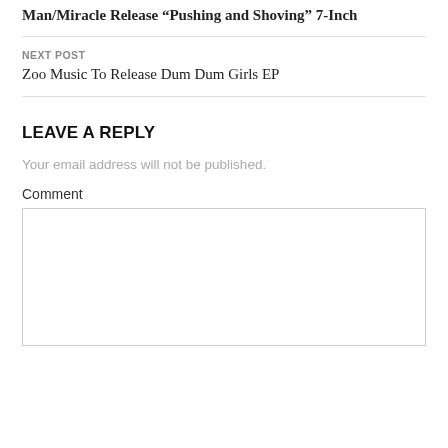Man/Miracle Release “Pushing and Shoving” 7-Inch
NEXT POST
Zoo Music To Release Dum Dum Girls EP
LEAVE A REPLY
Your email address will not be published.
Comment